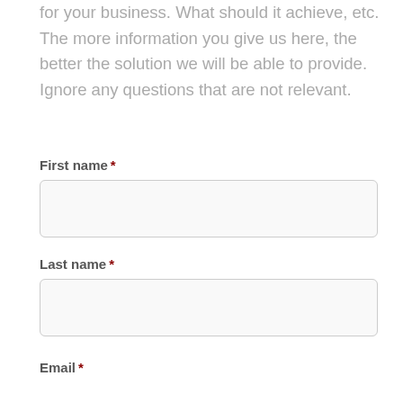for your business. What should it achieve, etc. The more information you give us here, the better the solution we will be able to provide. Ignore any questions that are not relevant.
First name *
Last name *
Email *